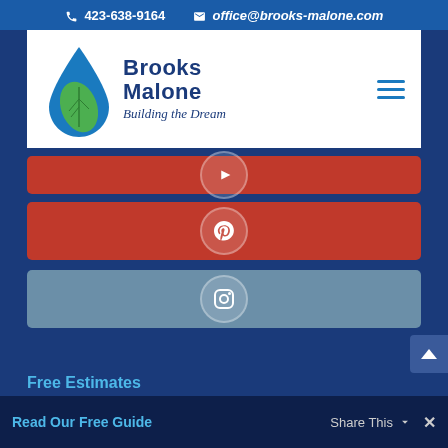📞 423-638-9164  ✉ office@brooks-malone.com
[Figure (logo): Brooks Malone logo with water drop and leaf, text 'Brooks Malone Building the Dream']
[Figure (other): Red social media button with YouTube icon circle]
[Figure (other): Red social media button with Pinterest icon circle]
[Figure (other): Steel blue social media button with Instagram icon circle]
Free Estimates
Get an Estimate
Read Our Free Guide
Share This  ×